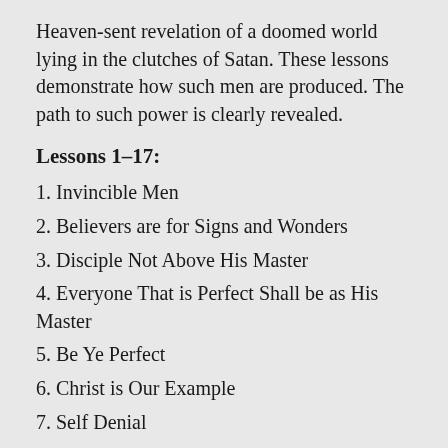Heaven-sent revelation of a doomed world lying in the clutches of Satan. These lessons demonstrate how such men are produced. The path to such power is clearly revealed.
Lessons 1–17:
1. Invincible Men
2. Believers are for Signs and Wonders
3. Disciple Not Above His Master
4. Everyone That is Perfect Shall be as His Master
5. Be Ye Perfect
6. Christ is Our Example
7. Self Denial
8. Idle Words and Foolish Talking